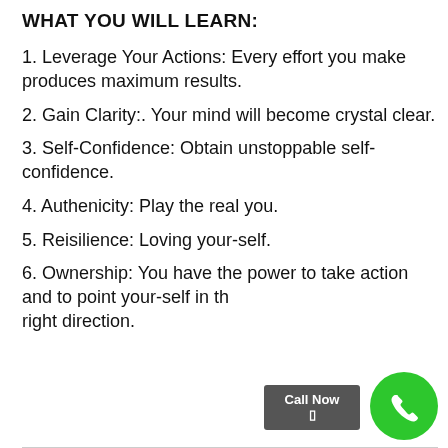WHAT YOU WILL LEARN:
1.  Leverage Your Actions:  Every effort you make produces maximum results.
2.  Gain Clarity:. Your mind will become crystal clear.
3.  Self-Confidence:  Obtain unstoppable self-confidence.
4.  Authenicity:  Play the real you.
5.  Reisilience: Loving your-self.
6.  Ownership:  You have the power to take action and to point your-self  in the right direction.